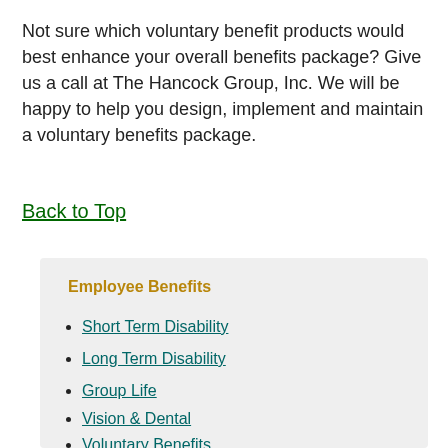Not sure which voluntary benefit products would best enhance your overall benefits package? Give us a call at The Hancock Group, Inc. We will be happy to help you design, implement and maintain a voluntary benefits package.
Back to Top
Employee Benefits
Short Term Disability
Long Term Disability
Group Life
Vision & Dental
Voluntary Benefits